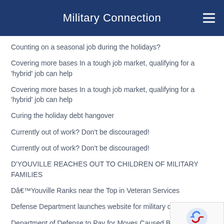Military Connection
Counting on a seasonal job during the holidays?
Covering more bases In a tough job market, qualifying for a 'hybrid' job can help
Covering more bases In a tough job market, qualifying for a 'hybrid' job can help
Curing the holiday debt hangover
Currently out of work? Don't be discouraged!
Currently out of work? Don't be discouraged!
D'YOUVILLE REACHES OUT TO CHILDREN OF MILITARY FAMILIES
Dâ€™Youville Ranks near the Top in Veteran Services
Defense Department launches website for military children
Department of Defense to Pay for Moves Caused By Landlord Foreclosures